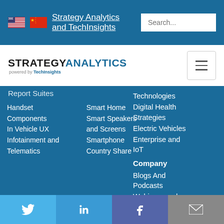Strategy Analytics and TechInsights
[Figure (logo): Strategy Analytics powered by TechInsights logo]
Report Suites
Technologies
Digital Health Strategies
Electric Vehicles
Enterprise and IoT
Company
Blogs And Podcasts
Webinars and Events
Newsroom
Handset Components
In Vehicle UX
Infotainment and Telematics
Smart Home
Smart Speakers and Screens
Smartphone Country Share
Twitter | LinkedIn | Facebook | Email